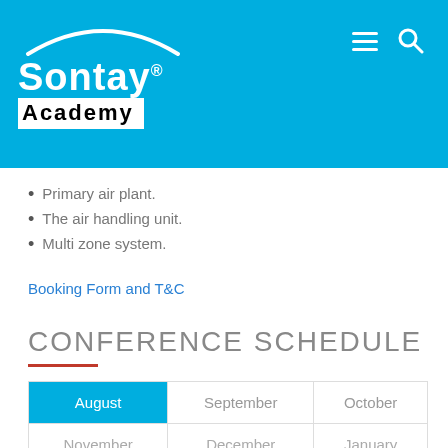[Figure (logo): Sontay Academy logo with arc graphic on blue background header, with hamburger menu and search icons]
Primary air plant.
The air handling unit.
Multi zone system.
Booking Form and T&C
CONFERENCE SCHEDULE
| August | September | October |
| --- | --- | --- |
| November | December | January |